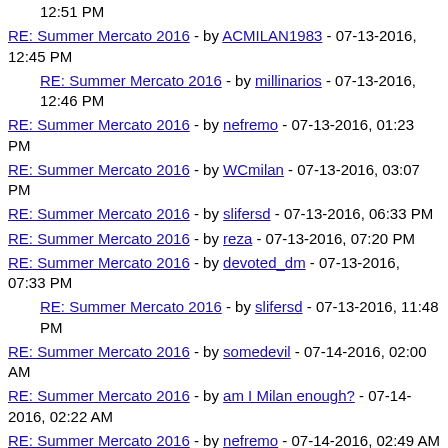12:51 PM
RE: Summer Mercato 2016 - by ACMILAN1983 - 07-13-2016, 12:45 PM
RE: Summer Mercato 2016 - by millinarios - 07-13-2016, 12:46 PM
RE: Summer Mercato 2016 - by nefremo - 07-13-2016, 01:23 PM
RE: Summer Mercato 2016 - by WCmilan - 07-13-2016, 03:07 PM
RE: Summer Mercato 2016 - by slifersd - 07-13-2016, 06:33 PM
RE: Summer Mercato 2016 - by reza - 07-13-2016, 07:20 PM
RE: Summer Mercato 2016 - by devoted_dm - 07-13-2016, 07:33 PM
RE: Summer Mercato 2016 - by slifersd - 07-13-2016, 11:48 PM
RE: Summer Mercato 2016 - by somedevil - 07-14-2016, 02:00 AM
RE: Summer Mercato 2016 - by am I Milan enough? - 07-14-2016, 02:22 AM
RE: Summer Mercato 2016 - by nefremo - 07-14-2016, 02:49 AM
RE: Summer Mercato 2016 - by nefremo - 07-14-2016, 06:30 PM
Summer Mercato 2016 - by PerSempre - 07-14-2016, 07:54